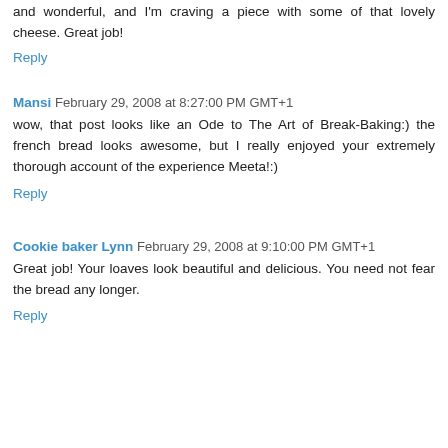and wonderful, and I'm craving a piece with some of that lovely cheese. Great job!
Reply
Mansi  February 29, 2008 at 8:27:00 PM GMT+1
wow, that post looks like an Ode to The Art of Break-Baking:) the french bread looks awesome, but I really enjoyed your extremely thorough account of the experience Meeta!:)
Reply
Cookie baker Lynn  February 29, 2008 at 9:10:00 PM GMT+1
Great job! Your loaves look beautiful and delicious. You need not fear the bread any longer.
Reply